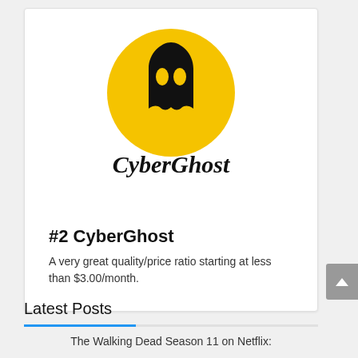[Figure (logo): CyberGhost logo: yellow circle with black ghost icon and 'CyberGhost' text below]
#2 CyberGhost
A very great quality/price ratio starting at less than $3.00/month.
Latest Posts
The Walking Dead Season 11 on Netflix: